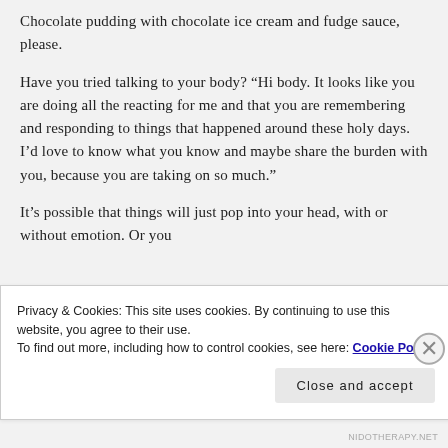Chocolate pudding with chocolate ice cream and fudge sauce, please.
Have you tried talking to your body? “Hi body. It looks like you are doing all the reacting for me and that you are remembering and responding to things that happened around these holy days. I’d love to know what you know and maybe share the burden with you, because you are taking on so much.”
It’s possible that things will just pop into your head, with or without emotion. Or you
Privacy & Cookies: This site uses cookies. By continuing to use this website, you agree to their use.
To find out more, including how to control cookies, see here: Cookie Policy
Close and accept